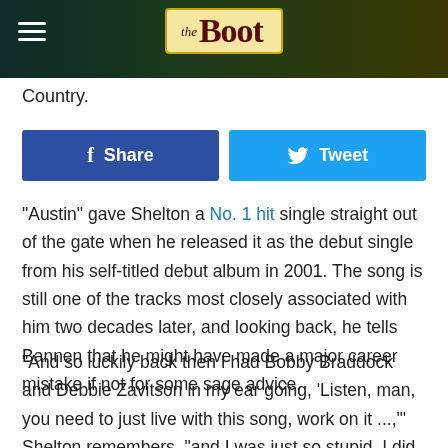the Boot
Country.
Share   Tweet
"Austin" gave Shelton a No. 1 hit single straight out of the gate when he released it as the debut single from his self-titled debut album in 2001. The song is still one of the tracks most closely associated with him two decades later, and looking back, he tells Bannen that he might have made a major career mistake if not for some sage advice.
"And so luckily back then I had Bobby Braddock and Debbie Zavitson in my ear going, 'Listen, man, you need to just live with this song, work on it ...,'" Shelton remembers, "and I was just so stupid, I did, and thank God they stayed on me about